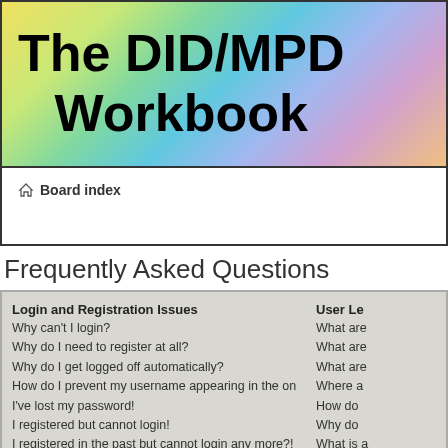The DID/MPD Workbook
Board index
Frequently Asked Questions
Login and Registration Issues
Why can't I login?
Why do I need to register at all?
Why do I get logged off automatically?
How do I prevent my username appearing in the online user listings?
I've lost my password!
I registered but cannot login!
I registered in the past but cannot login any more?!
What is COPPA?
Why can't I register?
What does the "Delete all board cookies" do?
User Preferences and settings
User Le…
What are…
What are…
What are…
Where a…
How do…
Why do…
What is…
What is…
Private…
I cannot…
I keep g…